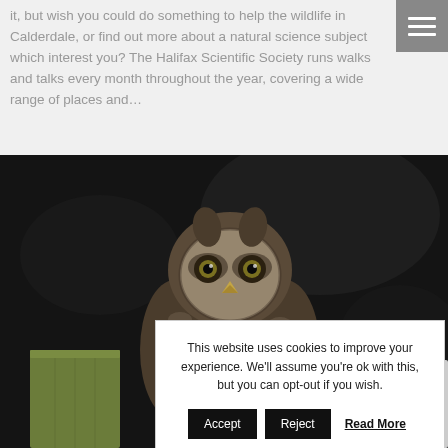it, but wish you could do something to help the wildlife in Calderdale, or find out more about a natural science subject which interest you? The Halifax Scientific Society runs walks and talks every month throughout the year, covering a wide range of places and...
[Figure (photo): Close-up photograph of a little owl perched on a wooden post against a dark blurred background]
This website uses cookies to improve your experience. We'll assume you're ok with this, but you can opt-out if you wish.